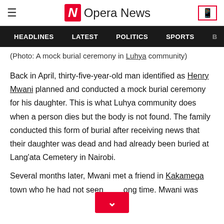Opera News
HEADLINES  LATEST  POLITICS  SPORTS
(Photo: A mock burial ceremony in Luhya community)
Back in April, thirty-five-year-old man identified as Henry Mwani planned and conducted a mock burial ceremony for his daughter. This is what Luhya community does when a person dies but the body is not found. The family conducted this form of burial after receiving news that their daughter was dead and had already been buried at Lang'ata Cemetery in Nairobi.
Several months later, Mwani met a friend in Kakamega town who he had not seen for a long time. Mwani was